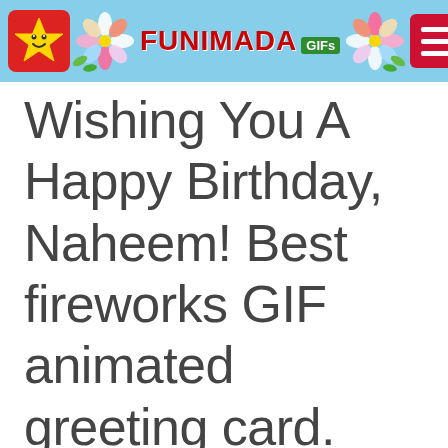FUNIMADA GIFs
Wishing You A Happy Birthday, Naheem! Best fireworks GIF animated greeting card.